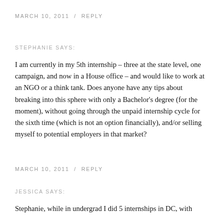MARCH 10, 2011  /  REPLY
STEPHANIE SAYS:
I am currently in my 5th internship – three at the state level, one campaign, and now in a House office – and would like to work at an NGO or a think tank. Does anyone have any tips about breaking into this sphere with only a Bachelor's degree (for the moment), without going through the unpaid internship cycle for the sixth time (which is not an option financially), and/or selling myself to potential employers in that market?
MARCH 10, 2011  /  REPLY
JESSICA SAYS:
Stephanie, while in undergrad I did 5 internships in DC, with